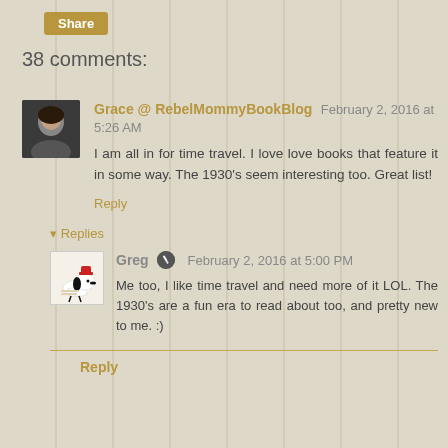Share
38 comments:
Grace @ RebelMommyBookBlog February 2, 2016 at 5:26 AM
I am all in for time travel. I love love books that feature it in some way. The 1930's seem interesting too. Great list!
Reply
Replies
Greg February 2, 2016 at 5:00 PM
Me too, I like time travel and need more of it LOL. The 1930's are a fun era to read about too, and pretty new to me. :)
Reply